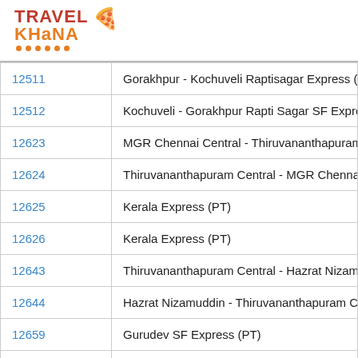[Figure (logo): TravelKhana logo with chef hat icon, red TRAVEL text, orange KHana text, and orange dots underline]
| Train No. | Train Name |
| --- | --- |
| 12511 | Gorakhpur - Kochuveli Raptisagar Express (PT) |
| 12512 | Kochuveli - Gorakhpur Rapti Sagar SF Express (PT) |
| 12623 | MGR Chennai Central - Thiruvananthapuram |
| 12624 | Thiruvananthapuram Central - MGR Chennai |
| 12625 | Kerala Express (PT) |
| 12626 | Kerala Express (PT) |
| 12643 | Thiruvananthapuram Central - Hazrat Nizam |
| 12644 | Hazrat Nizamuddin - Thiruvananthapuram C |
| 12659 | Gurudev SF Express (PT) |
| 12660 | Gurudev SF Express (PT) |